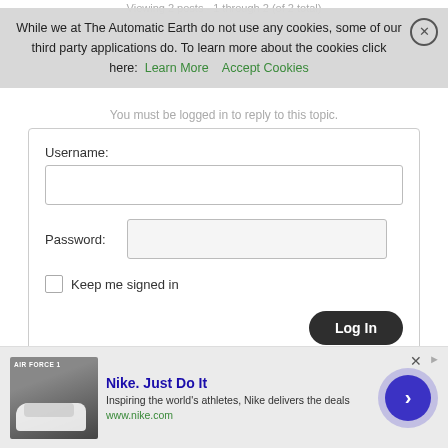Viewing 2 posts - 1 through 2 (of 2 total)
While we at The Automatic Earth do not use any cookies, some of our third party applications do. To learn more about the cookies click here: Learn More  Accept Cookies
You must be logged in to reply to this topic.
Username:
Password:
Keep me signed in
Log In
Debt Rattle April 4 2017
Any of this Sound Familiar?
[Figure (screenshot): Nike advertisement banner with Nike Air Force 1 shoe image, text 'Nike. Just Do It', 'Inspiring the world's athletes, Nike delivers the deals', 'www.nike.com', and a blue circular arrow button]